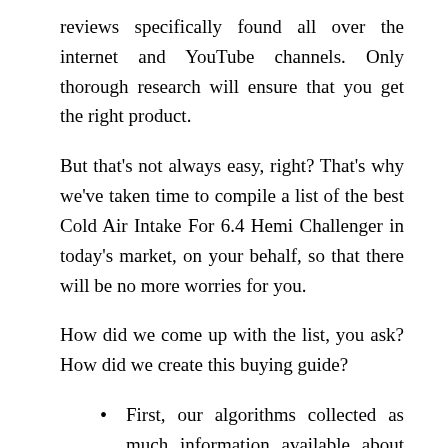reviews specifically found all over the internet and YouTube channels. Only thorough research will ensure that you get the right product.
But that's not always easy, right? That's why we've taken time to compile a list of the best Cold Air Intake For 6.4 Hemi Challenger in today's market, on your behalf, so that there will be no more worries for you.
How did we come up with the list, you ask? How did we create this buying guide?
First, our algorithms collected as much information available about these products from trusted sources.